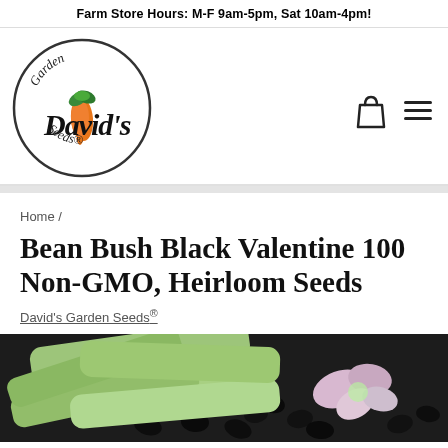Farm Store Hours: M-F 9am-5pm, Sat 10am-4pm!
[Figure (logo): David's Garden Seeds circular logo with a carrot and green leaves in the center, cursive text reading 'David's' with 'Garden' above and 'Seeds®' below]
Home /
Bean Bush Black Valentine 100 Non-GMO, Heirloom Seeds
David's Garden Seeds®
[Figure (photo): Product photo showing green bean pods and black seeds with a pink flower blossom on a dark background]